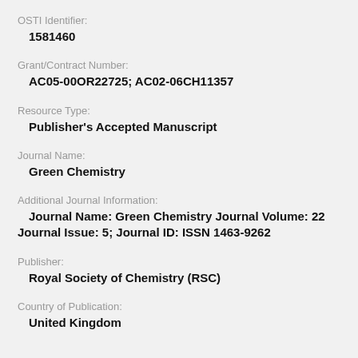OSTI Identifier:
1581460
Grant/Contract Number:
AC05-00OR22725; AC02-06CH11357
Resource Type:
Publisher's Accepted Manuscript
Journal Name:
Green Chemistry
Additional Journal Information:
Journal Name: Green Chemistry Journal Volume: 22 Journal Issue: 5; Journal ID: ISSN 1463-9262
Publisher:
Royal Society of Chemistry (RSC)
Country of Publication:
United Kingdom